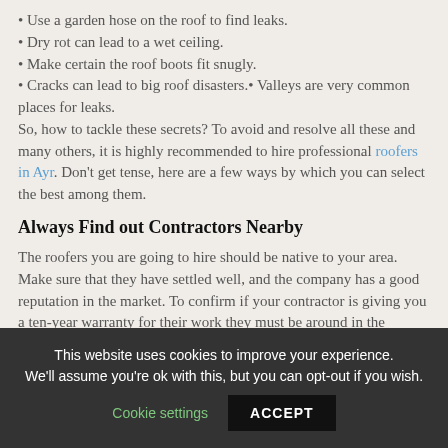• Use a garden hose on the roof to find leaks.
• Dry rot can lead to a wet ceiling.
• Make certain the roof boots fit snugly.
• Cracks can lead to big roof disasters.• Valleys are very common places for leaks.
So, how to tackle these secrets? To avoid and resolve all these and many others, it is highly recommended to hire professional roofers in Ayr. Don't get tense, here are a few ways by which you can select the best among them.
Always Find out Contractors Nearby
The roofers you are going to hire should be native to your area. Make sure that they have settled well, and the company has a good reputation in the market. To confirm if your contractor is giving you a ten-year warranty for their work they must be around in the coming ten years. The warranty would only best have if the contractors have a good reputation and they are old
This website uses cookies to improve your experience. We'll assume you're ok with this, but you can opt-out if you wish. Cookie settings ACCEPT